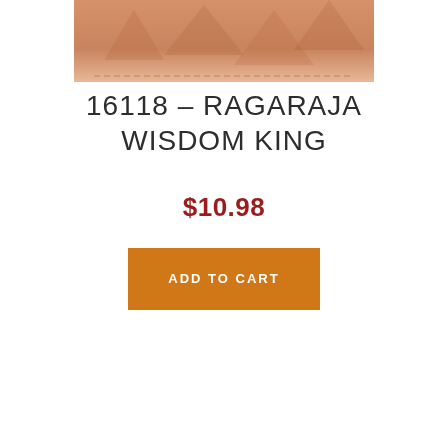[Figure (photo): Product image of Ragaraja Wisdom King item, showing a partial view of the product with warm orange/tan tones at the top of the page]
16118 – RAGARAJA WISDOM KING
$10.98
ADD TO CART